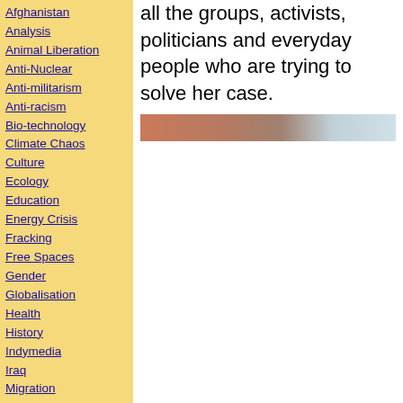Afghanistan
Analysis
Animal Liberation
Anti-Nuclear
Anti-militarism
Anti-racism
Bio-technology
Climate Chaos
Culture
Ecology
Education
Energy Crisis
Fracking
Free Spaces
Gender
Globalisation
Health
History
Indymedia
Iraq
Migration
Ocean Defence
Other Press
Palestine
Policing
Public sector cuts
Repression
Social Struggles
Technology
all the groups, activists, politicians and everyday people who are trying to solve her case.
[Figure (photo): A blurred photograph strip showing faces/people in brown, tan and light blue tones.]